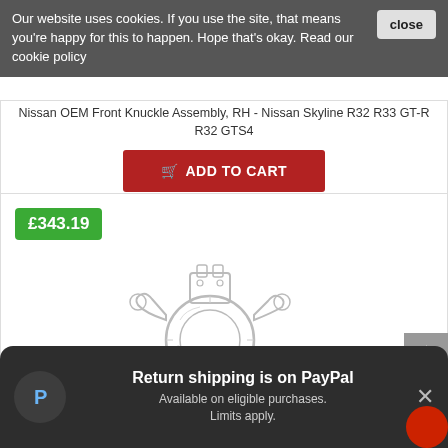Our website uses cookies. If you use the site, that means you're happy for this to happen. Hope that's okay. Read our cookie policy
close
Nissan OEM Front Knuckle Assembly, RH - Nissan Skyline R32 R33 GT-R R32 GTS4
ADD TO CART
£343.19
[Figure (illustration): Technical line drawing/illustration of a Nissan OEM Front Knuckle Assembly automotive part, shown in white/light gray pencil-style sketch]
Return shipping is on PayPal
Available on eligible purchases.
Limits apply.